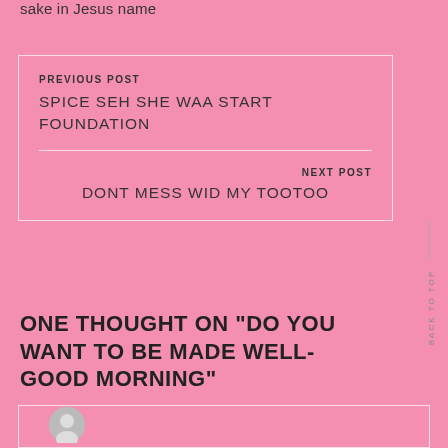sake in Jesus name
PREVIOUS POST
SPICE SEH SHE WAA START FOUNDATION
NEXT POST
DONT MESS WID MY TOOTOO
ONE THOUGHT ON “DO YOU WANT TO BE MADE WELL- GOOD MORNING”